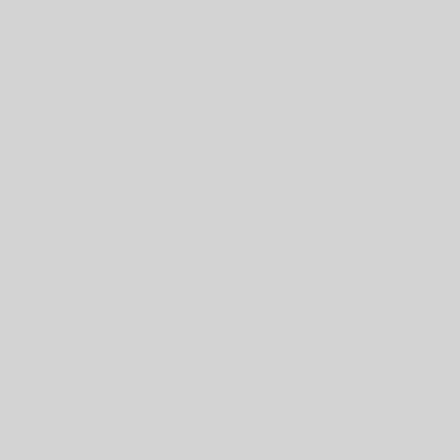teams and where to watch the EPL live in
► BRITISH BUSINESSES + PR ON THE FABB MEMBERS PAG
[Figure (illustration): Silhouette of a person waving a British Union Jack flag]
The British Bureau maintains Britons and British businesses every Florida zipcode. It's been
[Figure (illustration): Illustration of a red and grey cargo/container ship]
NEED SOMETHING SHIPPED Florida?  Don't risk your prec recommended companies on
► THE ROYAL FAMILY, all the info on their official website
► FOR ALL UK  NEWS consu